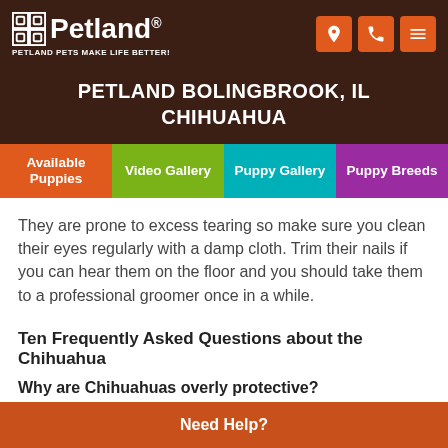Petland — PETLAND PETS MAKE LIFE BETTER!
PETLAND BOLINGBROOK, IL
CHIHUAHUA
Available Puppies | Video Gallery | Puppy Gallery | Puppy Breeds
They are prone to excess tearing so make sure you clean their eyes regularly with a damp cloth. Trim their nails if you can hear them on the floor and you should take them to a professional groomer once in a while.
Ten Frequently Asked Questions about the Chihuahua
Why are Chihuahuas overly protective?
Need Help?